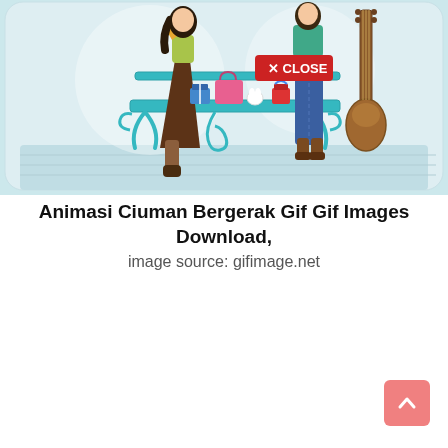[Figure (illustration): Cartoon illustration of two animated characters (a girl and a boy) sitting on a decorative teal bench with gifts and a guitar. The girl wears a brown skirt and boots; the boy wears jeans. Scene has a light blue background with a red 'X CLOSE' button overlay.]
Animasi Ciuman Bergerak Gif Gif Images Download,
image source: gifimage.net